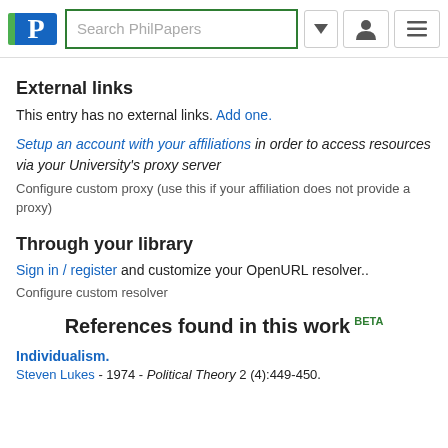[Figure (logo): PhilPapers logo with green bar and blue P, search box, dropdown arrow, user icon, and menu icon]
External links
This entry has no external links. Add one.
Setup an account with your affiliations in order to access resources via your University's proxy server
Configure custom proxy (use this if your affiliation does not provide a proxy)
Through your library
Sign in / register and customize your OpenURL resolver..
Configure custom resolver
References found in this work BETA
Individualism.
Steven Lukes - 1974 - Political Theory 2 (4):449-450.